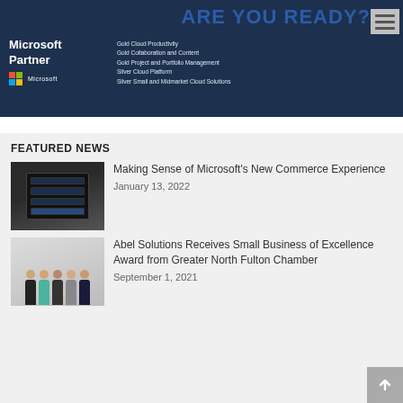[Figure (screenshot): Microsoft Partner banner with dark blue overlay, 'ARE YOU READY?' heading in bold blue, hamburger menu icon, Microsoft Partner logo with competency list including Gold Cloud Productivity, Gold Collaboration and Content, Gold Project and Portfolio Management, Silver Cloud Platform, Silver Small and Midmarket Cloud Solutions]
FEATURED NEWS
[Figure (photo): Photo of server rack hardware, dark colored rack unit equipment]
Making Sense of Microsoft's New Commerce Experience
January 13, 2022
[Figure (photo): Group photo of five people standing together at an award event]
Abel Solutions Receives Small Business of Excellence Award from Greater North Fulton Chamber
September 1, 2021